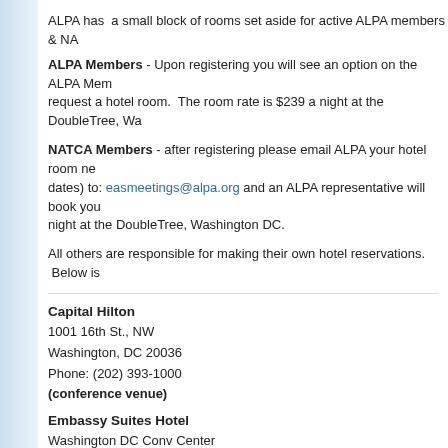ALPA has a small block of rooms set aside for active ALPA members & NA...
ALPA Members - Upon registering you will see an option on the ALPA Mem... request a hotel room. The room rate is $239 a night at the DoubleTree, Wa...
NATCA Members - after registering please email ALPA your hotel room ne... dates) to: easmeetings@alpa.org and an ALPA representative will book you... night at the DoubleTree, Washington DC.
All others are responsible for making their own hotel reservations. Below is...
Capital Hilton
1001 16th St., NW
Washington, DC 20036
Phone: (202) 393-1000
(conference venue)
Embassy Suites Hotel
Washington DC Conv Center
900 10th St., NW
Washington, DC 20001
Phone: (202) 739-2001
The Fairfax at Embassy Row
2100 Massachusetts Ave., NW
Washington, DC 20008
Harrington Hotel
436 11th St., NW
Washington, DC 20004